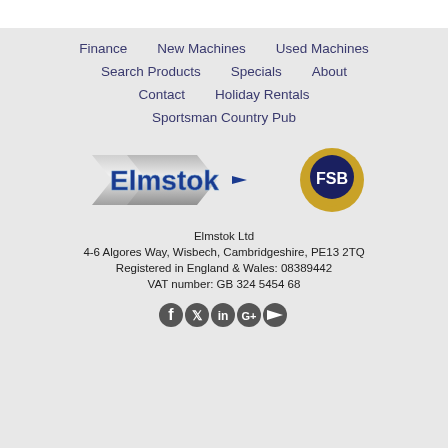Finance
New Machines
Used Machines
Search Products
Specials
About
Contact
Holiday Rentals
Sportsman Country Pub
[Figure (logo): Elmstok logo with silver chevron shapes and blue bold text reading 'Elmstok' with an arrow, alongside FSB badge logo (dark blue circle with gold laurel wreath and shield)]
Elmstok Ltd
4-6 Algores Way, Wisbech, Cambridgeshire, PE13 2TQ
Registered in England & Wales: 08389442
VAT number: GB 324 5454 68
[Figure (other): Social media icons: Facebook (f), Twitter (bird/X), LinkedIn (in), Google+ (G+), YouTube (play button)]